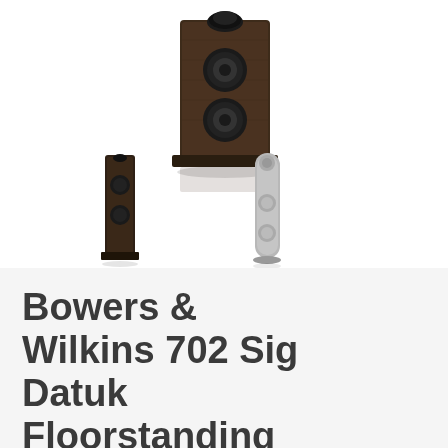[Figure (photo): Product images of Bowers & Wilkins 702 Sig Datuk Floorstanding speaker. Main large image of a dark wood-finish tall floorstanding speaker at top center. Two smaller thumbnail images below: one dark speaker from front, one light/silver speaker.]
Bowers & Wilkins 702 Sig Datuk Floorstanding